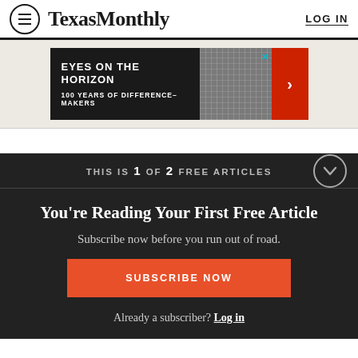Texas Monthly  LOG IN
[Figure (screenshot): Advertisement banner: EYES ON THE HORIZON - 100 YEARS OF DIFFERENCE-MAKERS with building image and red arrow button]
THIS IS 1 OF 2 FREE ARTICLES
You're Reading Your First Free Article
Subscribe now before you run out of road.
SUBSCRIBE NOW
Already a subscriber? Log in